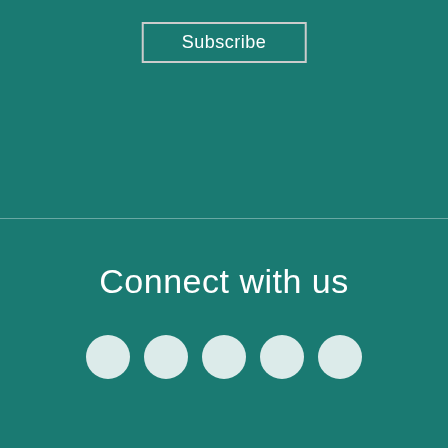Subscribe
Connect with us
[Figure (illustration): Five circular social media icon placeholders in white/light color on teal background]
Like most websites we use cookies to deliver a personalised service. To use the website as intended please accept cookies.
Accept Cookies